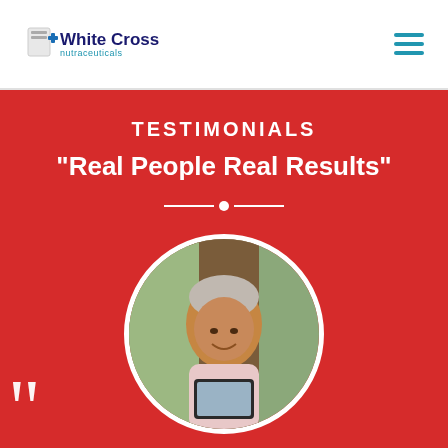White Cross Nutraceuticals
TESTIMONIALS
"Real People Real Results"
[Figure (photo): Circular portrait photo of an older woman smiling, holding a tablet device, with a tree trunk in the background]
"